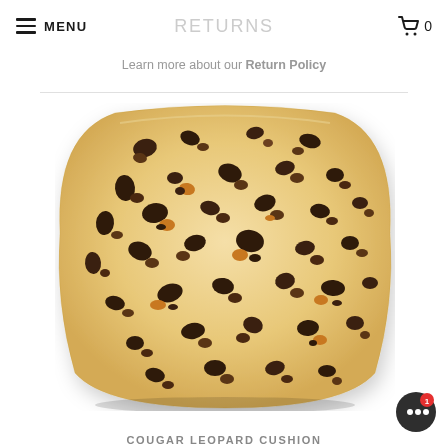MENU  RETURNS  🛒 0
Learn more about our Return Policy
[Figure (photo): A square decorative throw pillow with a leopard print pattern in tan/cream background with dark brown and golden brown spots, photographed on a white background.]
COUGAR LEOPARD CUSHION